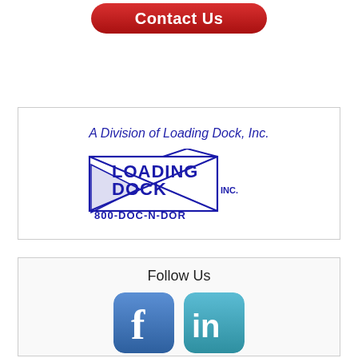[Figure (other): Red rounded rectangle 'Contact Us' button with white bold text]
[Figure (logo): Loading Dock Inc. logo with text 'A Division of Loading Dock, Inc.' above, navy blue logo showing LOADING DOCK INC. 800-DOC-N-DOR with crossed dock graphic, inside a bordered box]
[Figure (other): Follow Us section with Facebook and LinkedIn social media icon buttons inside a bordered box]